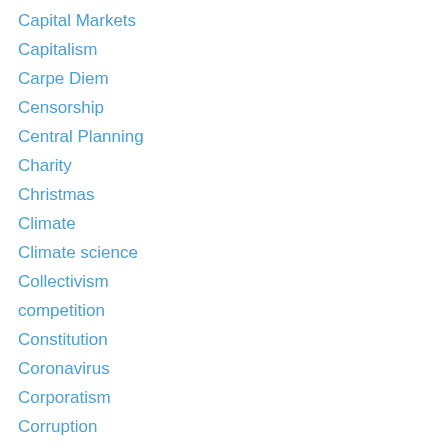Capital Markets
Capitalism
Carpe Diem
Censorship
Central Planning
Charity
Christmas
Climate
Climate science
Collectivism
competition
Constitution
Coronavirus
Corporatism
Corruption
Criminal Justice
Critical Race Theory
Data Integrity
Debate
Defamation